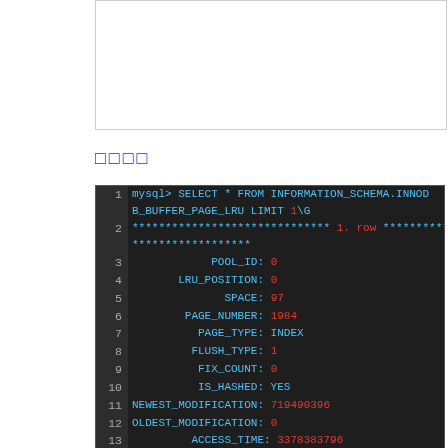The freed_page_clock count removed from the end of the LR
□□□□
[Figure (screenshot): MySQL query result showing SELECT * FROM INFORMATION_SCHEMA.INNODB_BUFFER_PAGE_LRU LIMIT 1\G with fields: POOL_ID:0, LRU_POSITION:0, SPACE:97, PAGE_NUMBER:1984, PAGE_TYPE:INDEX, FLUSH_TYPE:1, FIX_COUNT:0, IS_HASHED:YES, NEWEST_MODIFICATION:719490396, OLDEST_MODIFICATION:0, ACCESS_TIME:3378383796, TABLE_NAME:`employees`.`salaries`, INDEX_NAME:PRIMARY, NUMBER_RECORDS:468, DATA_SIZE:14976, COMPRESSED_SIZE:0, COMPRESSED:NO, IO_FIX:IO_NONE]